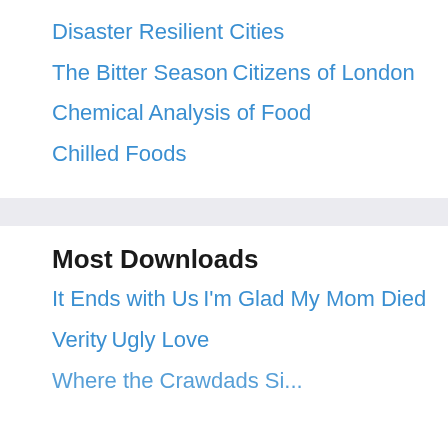Disaster Resilient Cities
The Bitter Season
Citizens of London
Chemical Analysis of Food
Chilled Foods
Most Downloads
It Ends with Us
I'm Glad My Mom Died
Verity
Ugly Love
Where the Crawdads Sing